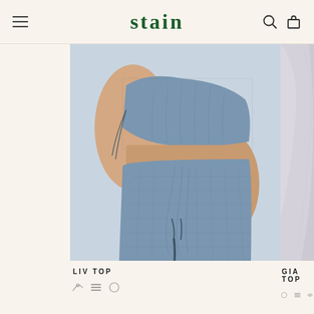stain
[Figure (photo): Model wearing a blue ruched one-shoulder top and matching ruched midi skirt with drawstring detail and front slit, in a blue-grey textured fabric]
LIV TOP
[Figure (photo): Partial view of white/grey draped fabric clothing item - GIA TOP]
GIA TOP